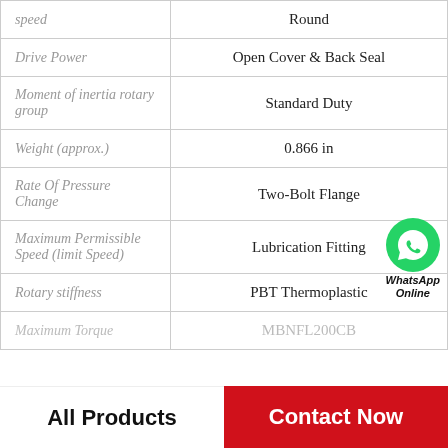| Property | Value |
| --- | --- |
| speed | Round |
| Drive Power | Open Cover & Back Seal |
| Moment of inertia rotary group | Standard Duty |
| Weight (approx.) | 0.866 in |
| Rate Of Pressure Change | Two-Bolt Flange |
| Maximum Permissible Speed (limit Speed) | Lubrication Fitting |
| Rotary stiffness | PBT Thermoplastic |
| Maximum Torque | MBNFL200CB |
[Figure (logo): WhatsApp Online contact bubble with green phone icon]
All Products    Contact Now